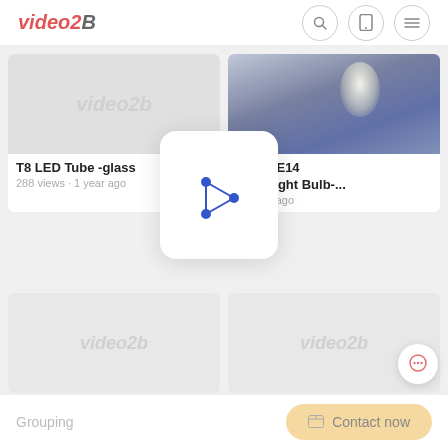[Figure (screenshot): video2B website header with logo, search icon, tablet icon, and hamburger menu icon]
[Figure (screenshot): Video grid showing T8 LED Tube -glass video card with 288 views 1 year ago, Smart E14 Dimmable Light Bulb video card with views and 1 year ago, a play button overlay card, two bottom video thumbnails, a chat bubble, a Grouping label, and a Contact now button]